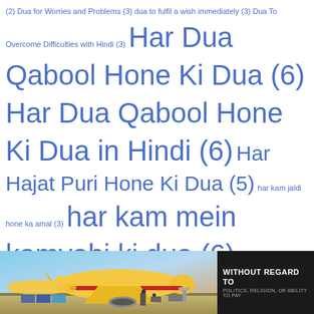(2) Dua for Worries and Problems (3) dua to fulfil a wish immediately (3) Dua To Overcome Difficulties with Hindi (3) Har Dua Qabool Hone Ki Dua (6) Har Dua Qabool Hone Ki Dua in Hindi (6) Har Hajat Puri Hone Ki Dua (5) har kam jaldi hone ka amal (3) har kam mein kamyabi ki dua (6) Har Maqsad Mein Kamyabi Ka Wazifa (4) Har Mushkil Ke Hal Ke Liye amal (4) har pareshani ki nijat pane ka amal (7) islamic dua to get rich fast (2) jaldi pasand ki shadi ka wazifa (7) jaldi shadi ka Qurani wazifa (3) kisi ke dil me mohabbat dalne ka amal (5) kisi ke dil me mohabbat dalne ka kargar wazifa (4) La Ilaha Illallah Dua Benefits in
[Figure (photo): Advertisement banner showing cargo airplanes being loaded on a tarmac, with a dark panel on the right reading 'WITHOUT REGARD TO' in white bold text with smaller gray subtext.]